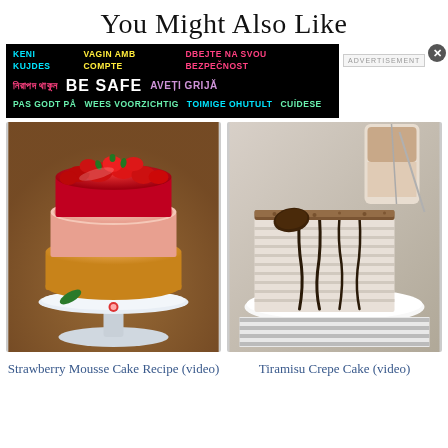You Might Also Like
[Figure (infographic): Multilingual safety advertisement banner on black background with text in multiple languages: KENI KUJDES, VAGIN AMB COMPTE, DBEJTE NA SVOU BEZPECNOST, Bengali text, BE SAFE, AVETI GRIJA, PAS GODT PA, WEES VOORZICHTIG, TOIMIGE OHUTULT, CUIDESE. ADVERTISEMENT label on right.]
[Figure (photo): Strawberry mousse cake on a decorative cake stand, topped with fresh strawberries in red glaze, with a creamy pink mousse layer on a sponge base.]
[Figure (photo): Tiramisu crepe cake slice on a white plate, drizzled with chocolate sauce, with a latte glass in the background.]
Strawberry Mousse Cake Recipe (video)
Tiramisu Crepe Cake (video)